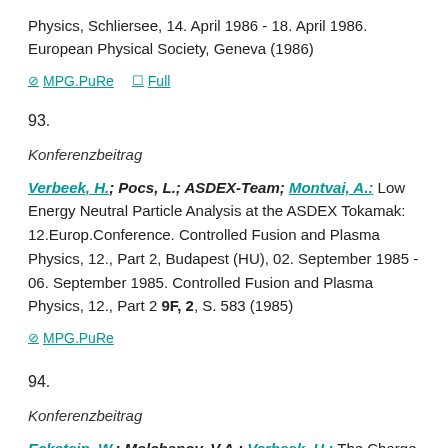Physics, Schliersee, 14. April 1986 - 18. April 1986. European Physical Society, Geneva (1986)
⊘ MPG.PuRe  ☐ Full
93.
Konferenzbeitrag
Verbeek, H.; Pocs, L.; ASDEX-Team; Montvai, A.: Low Energy Neutral Particle Analysis at the ASDEX Tokamak: 12.Europ.Conference. Controlled Fusion and Plasma Physics, 12., Part 2, Budapest (HU), 02. September 1985 - 06. September 1985. Controlled Fusion and Plasma Physics, 12., Part 2 9F, 2, S. 583 (1985)
⊘ MPG.PuRe
94.
Konferenzbeitrag
Eckstein, W.; Molchanov, V.A.; Verbeek, H.: The Charge State of He Backscattered from Ni: 7. International